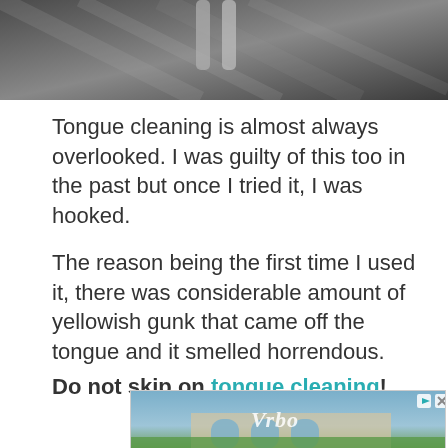[Figure (photo): Close-up photo of a tongue cleaner / scraper tool against a dark textured background, partially cropped at top.]
Tongue cleaning is almost always overlooked. I was guilty of this too in the past but once I tried it, I was hooked.
The reason being the first time I used it, there was considerable amount of yellowish gunk that came off the tongue and it smelled horrendous.
Do not skip on tongue cleaning!
[Figure (photo): Vrbo advertisement banner showing a house with arched windows and greenery, with Vrbo logo watermark in white italic text, and forward/close icons at top right.]